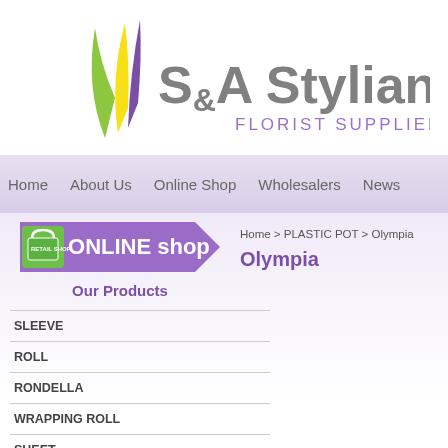[Figure (logo): S&A Stylianou Florist Suppliers Ltd logo with green, yellow and purple leaf/grass graphic elements]
Home | About Us | Online Shop | Wholesalers | News
[Figure (illustration): Online Shop banner with purple arrow shape and green shopping bag icon]
Home > PLASTIC POT > Olympia
Olympia
Our Products
SLEEVE
ROLL
RONDELLA
WRAPPING ROLL
SHEET